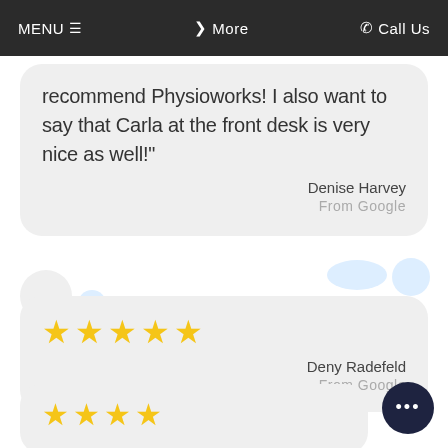MENU ≡   ❯ More   ✆ Call Us
recommend Physioworks! I also want to say that Carla at the front desk is very nice as well!"
Denise Harvey
From Google
[Figure (other): Five gold stars rating for Deny Radefeld review]
Deny Radefeld
From Google
[Figure (other): Four gold stars rating (partial, bottom card)]